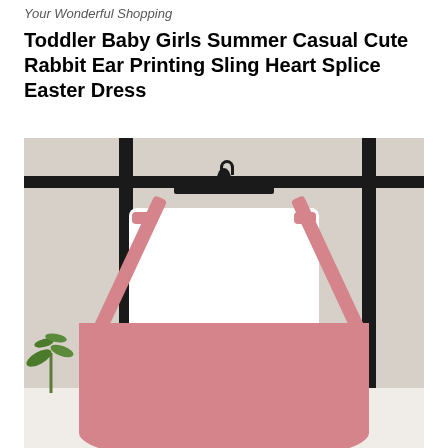Your Wonderful Shopping
Toddler Baby Girls Summer Casual Cute Rabbit Ear Printing Sling Heart Splice Easter Dress
[Figure (photo): Back view of a toddler girls Easter dress on a hanger. The dress features a white short-sleeve top with pink cross-back sling straps and a pink ruffled skirt. Photographed against a grey background with black window frames and a green plant visible on the left.]